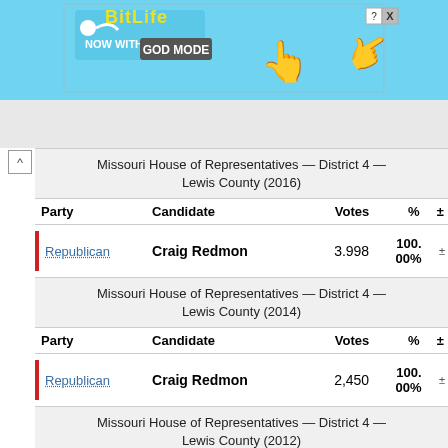[Figure (screenshot): BitLife advertisement banner — 'BitLife NOW WITH GOD MODE' on a blue background with cartoon hand pointing]
| Party | Candidate | Votes | % | ± |
| --- | --- | --- | --- | --- |
| Republican | Craig Redmon | 3,998 | 100.00% |  |
| Party | Candidate | Votes | % | ± |
| --- | --- | --- | --- | --- |
| Republican | Craig Redmon | 2,450 | 100.00% |  |
| Party | Candidate | Votes | % | ± |
| --- | --- | --- | --- | --- |
| Republican | Craig Redmon | 3,869 | 100. |  |